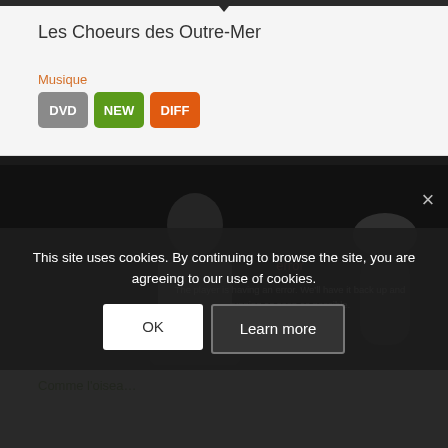Les Choeurs des Outre-Mer
Musique
DVD NEW DIFF
[Figure (screenshot): Video player showing a person in a white patterned outfit with an error overlay message and a close button (×)]
error
The player is having an error. We'll have it back up and running as soon as possible.
This site uses cookies. By continuing to browse the site, you are agreeing to our use of cookies.
OK
Learn more
Comme l'oisea…